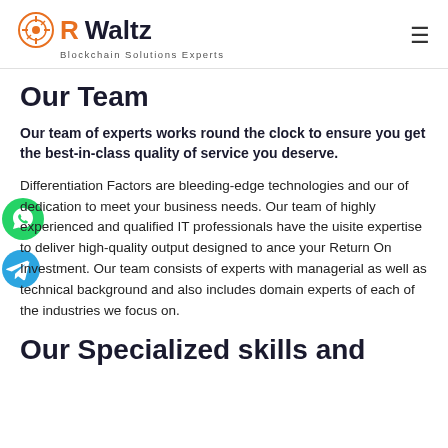RWaltz Blockchain Solutions Experts
Our Team
Our team of experts works round the clock to ensure you get the best-in-class quality of service you deserve.
Differentiation Factors are bleeding-edge technologies and our of dedication to meet your business needs. Our team of highly experienced and qualified IT professionals have the uisite expertise to deliver high-quality output designed to ance your Return On Investment. Our team consists of experts with managerial as well as technical background and also includes domain experts of each of the industries we focus on.
Our Specialized skills and